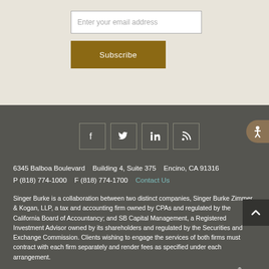[Figure (other): Email input field with placeholder text 'Enter your email address']
[Figure (other): Subscribe button in dark gold/brown color]
[Figure (other): Social media icons: Facebook, Twitter, LinkedIn, RSS feed]
6345 Balboa Boulevard   Building 4, Suite 375   Encino, CA 91316
P (818) 774-1000   F (818) 774-1700   Contact Us
Singer Burke is a collaboration between two distinct companies, Singer Burke Zimmer & Kogan, LLP, a tax and accounting firm owned by CPAs and regulated by the California Board of Accountancy; and SB Capital Management, a Registered Investment Advisor owned by its shareholders and regulated by the Securities and Exchange Commission. Clients wishing to engage the services of both firms must contract with each firm separately and render fees as specified under each arrangement.
Certified Financial Planner Board of Standards Inc. owns the certification marks CFP®